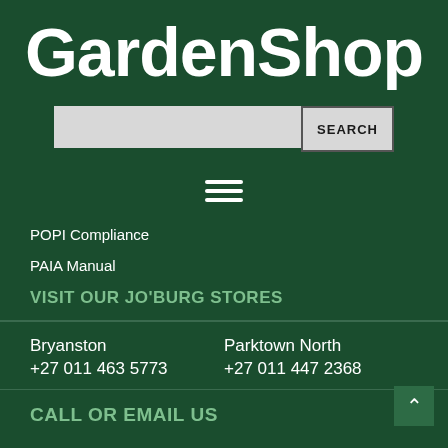GardenShop
[Figure (screenshot): Search bar with input field and SEARCH button]
[Figure (infographic): Hamburger menu icon (three horizontal lines)]
POPI Compliance
PAIA Manual
VISIT OUR JO'BURG STORES
Bryanston
+27 011 463 5773
Parktown North
+27 011 447 2368
CALL OR EMAIL US